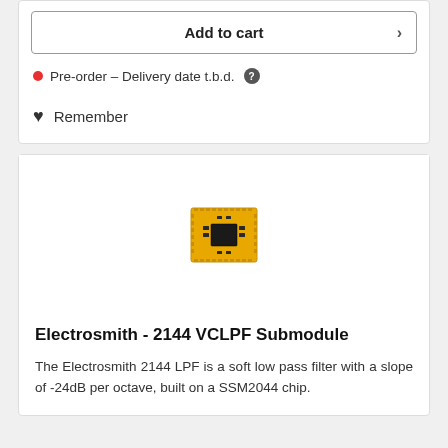Add to cart
Pre-order – Delivery date t.b.d.
Remember
[Figure (photo): Small yellow PCB submodule (Electrosmith 2144 VCLPF Submodule) with SMD components and pin headers along the edges]
Electrosmith - 2144 VCLPF Submodule
The Electrosmith 2144 LPF is a soft low pass filter with a slope of -24dB per octave, built on a SSM2044 chip.